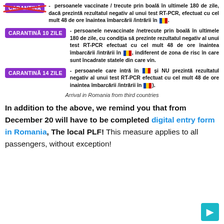CARANTINĂ (crossed out) - persoanele vaccinate / trecute prin boală în ultimele 180 de zile, dacă prezintă rezultatul negativ al unui test RT-PCR, efectuat cu cel mult 48 de ore înaintea îmbarcării /intrării în [RO flag].
CARANTINĂ 10 ZILE - persoanele nevaccinate /netrecute prin boală în ultimele 180 de zile, cu condiția să prezinte rezultatul negativ al unui test RT-PCR efectuat cu cel mult 48 de ore înaintea îmbarcării /intrării în [RO flag], indiferent de zona de risc în care sunt încadrate statele din care vin.
CARANTINĂ 14 ZILE - persoanele care intră în [RO flag] și NU prezintă rezultatul negativ al unui test RT-PCR efectuat cu cel mult 48 de ore inaintea îmbarcării /intrării în [RO flag]).
Arrival in Romania from third countries
In addition to the above, we remind you that from December 20 will have to be completed digital entry form in Romania, The local PLF! This measure applies to all passengers, without exception!